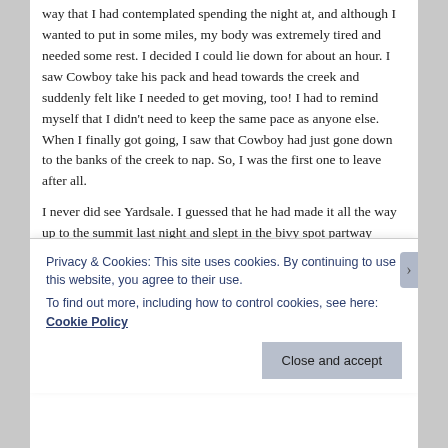way that I had contemplated spending the night at, and although I wanted to put in some miles, my body was extremely tired and needed some rest. I decided I could lie down for about an hour. I saw Cowboy take his pack and head towards the creek and suddenly felt like I needed to get moving, too! I had to remind myself that I didn't need to keep the same pace as anyone else. When I finally got going, I saw that Cowboy had just gone down to the banks of the creek to nap. So, I was the first one to leave after all.
I never did see Yardsale. I guessed that he had made it all the way up to the summit last night and slept in the bivy spot partway down. I didn't get to give him his bandana, after all.
The day grew warm and I had to change back into my
Privacy & Cookies: This site uses cookies. By continuing to use this website, you agree to their use.
To find out more, including how to control cookies, see here: Cookie Policy